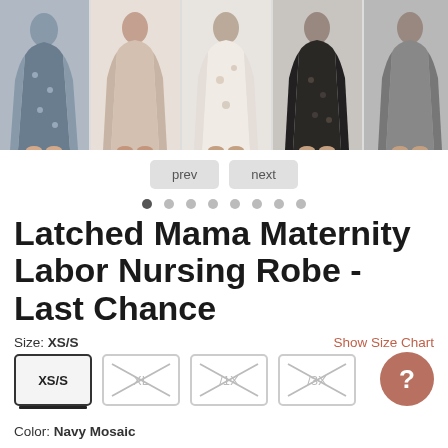[Figure (photo): Five product photos of women wearing maternity/nursing robes in various patterns — navy floral, cream/pink, white floral, dark floral, and grey — shown in a horizontal strip at top of page.]
prev   next
• • • • • • • •  (dot navigation indicators)
Latched Mama Maternity Labor Nursing Robe - Last Chance
Size: XS/S
Show Size Chart
XS/S  XL  /1X  /3X
Color: Navy Mosaic